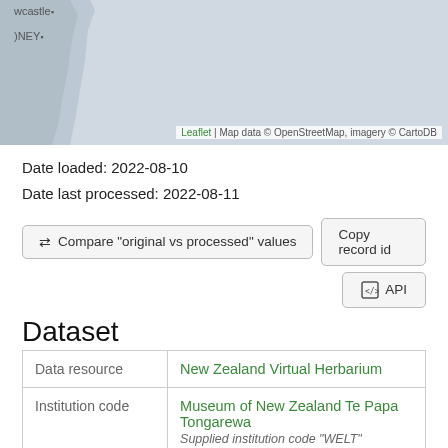[Figure (map): Partial map showing coastline near Newcastle and Sydney (Australia), light grey land/sea, with Leaflet attribution and OpenStreetMap/CartoDB credit.]
Date loaded: 2022-08-10
Date last processed: 2022-08-11
⇄ Compare "original vs processed" values
Copy record id
API
Dataset
|  |  |
| --- | --- |
| Data resource | New Zealand Virtual Herbarium |
| Institution code | Museum of New Zealand Te Papa Tongarewa
Supplied institution code "WELT" |
| Collection | Herbarium of the Museum of New Zealand |